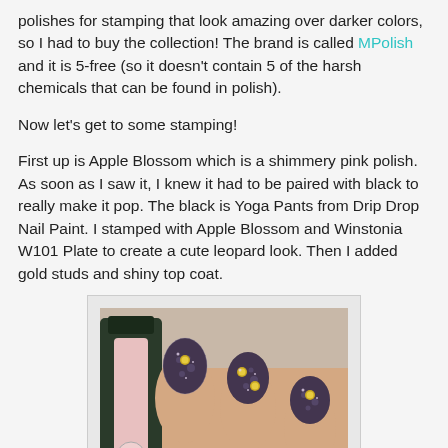polishes for stamping that look amazing over darker colors, so I had to buy the collection!  The brand is called MPolish and it is 5-free (so it doesn't contain 5 of the harsh chemicals that can be found in polish).
Now let's get to some stamping!
First up is Apple Blossom which is a shimmery pink polish.  As soon as I saw it, I knew it had to be paired with black to really make it pop.  The black is Yoga Pants from Drip Drop Nail Paint.  I stamped with Apple Blossom and Winstonia W101 Plate to create a cute leopard look.  Then I added gold studs and shiny top coat.
[Figure (photo): Close-up photo of nails painted black with pink shimmery leopard stamping and gold studs, with a pink nail polish bottle in the foreground.]